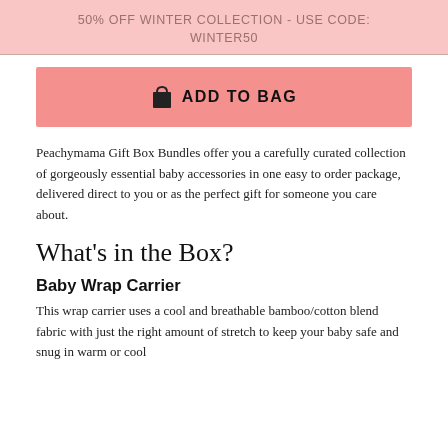50% OFF WINTER COLLECTION - USE CODE: WINTER50
ADD TO BAG
Peachymama Gift Box Bundles offer you a carefully curated collection of gorgeously essential baby accessories in one easy to order package, delivered direct to you or as the perfect gift for someone you care about.
What's in the Box?
Baby Wrap Carrier
This wrap carrier uses a cool and breathable bamboo/cotton blend fabric with just the right amount of stretch to keep your baby safe and snug in warm or cool